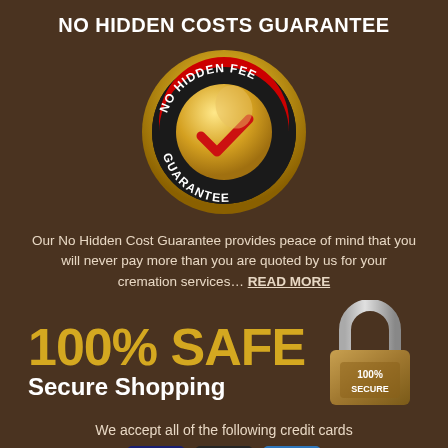NO HIDDEN COSTS GUARANTEE
[Figure (logo): Gold circular badge with 'NO HIDDEN FEE GUARANTEE' text and a red checkmark on a black and red background]
Our No Hidden Cost Guarantee provides peace of mind that you will never pay more than you are quoted by us for your cremation services… READ MORE
[Figure (infographic): 100% SAFE Secure Shopping badge with a gold padlock showing 100% SECURE]
We accept all of the following credit cards
[Figure (infographic): Credit card logos row at bottom]